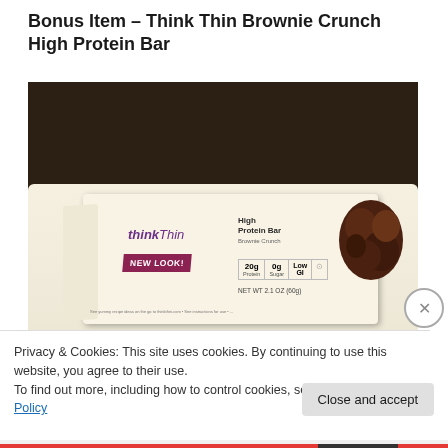Bonus Item – Think Thin Brownie Crunch High Protein Bar
[Figure (photo): Photo of a thinkThin Brownie Crunch High Protein Bar in cream-colored packaging with 'NEW LOOK!' banner, showing 20g Protein, 0g Sugar, Low GI stats, NET WT 2.1 OZ (60g), placed on a dark wood table surface. Chocolate brownie pieces visible on right side of packaging.]
Privacy & Cookies: This site uses cookies. By continuing to use this website, you agree to their use.
To find out more, including how to control cookies, see here: Cookie Policy
Close and accept